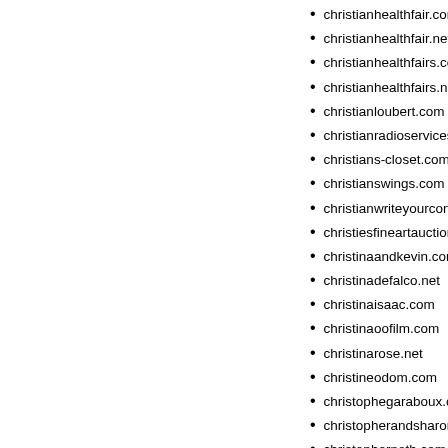christianhealthfair.com
christianhealthfair.net
christianhealthfairs.com
christianhealthfairs.net
christianloubert.com
christianradioservices.com
christians-closet.com
christianswings.com
christianwriteyourcongressm…
christiesfineartauctioneers.ne…
christinaandkevin.com
christinadefalco.net
christinaisaac.com
christinaoofilm.com
christinarose.net
christineodom.com
christophegaraboux.com
christopherandsharon.com
christophernoth.com
christopoint.com
christysecrets.com
chriswalsh.net
chronesdiseasepage.com
chronespage.com
chroniccaregroup.com
chslove.com
chuanglitong.com
chuangsiwei.com